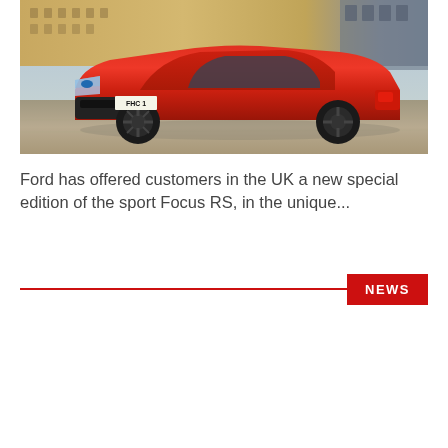[Figure (photo): A red Ford Focus RS sport hatchback parked in front of a grand stone building. The car has a UK license plate reading 'FHC 1' and features black alloy wheels and aggressive front styling.]
Ford has offered customers in the UK a new special edition of the sport Focus RS, in the unique...
NEWS